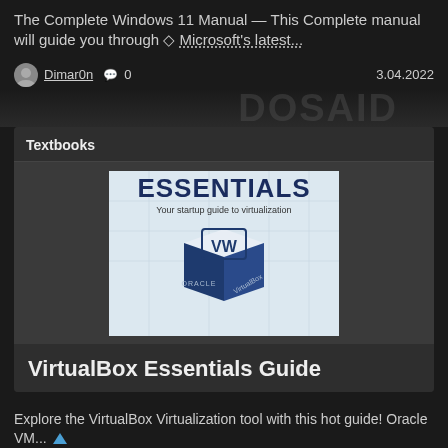The Complete Windows 11 Manual — This Complete manual will guide you through ◇ Microsoft's latest...
Dimar0n  💬 0  3.04.2022
Textbooks
[Figure (photo): Book cover image: ESSENTIALS - Your startup guide to virtualization, showing Oracle VirtualBox 3D cube logo]
VirtualBox Essentials Guide
Explore the VirtualBox Virtualization tool with this hot guide! Oracle VM...